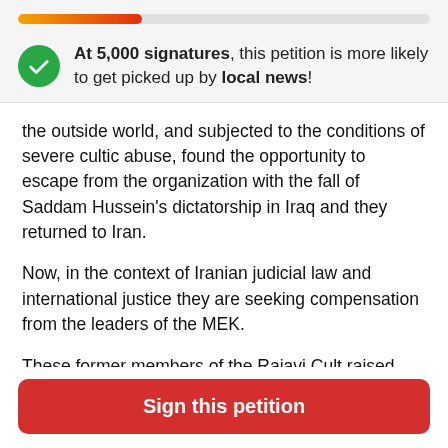[Figure (infographic): Progress bar showing partial fill from orange to red gradient, approximately 30% filled, on a light gray background.]
At 5,000 signatures, this petition is more likely to get picked up by local news!
the outside world, and subjected to the conditions of severe cultic abuse, found the opportunity to escape from the organization with the fall of Saddam Hussein's dictatorship in Iraq and they returned to Iran.
Now, in the context of Iranian judicial law and international justice they are seeking compensation from the leaders of the MEK.
These former members of the Rajavi Cult raised their complaint in the Iranian judicial system in March 2019.
Sign this petition